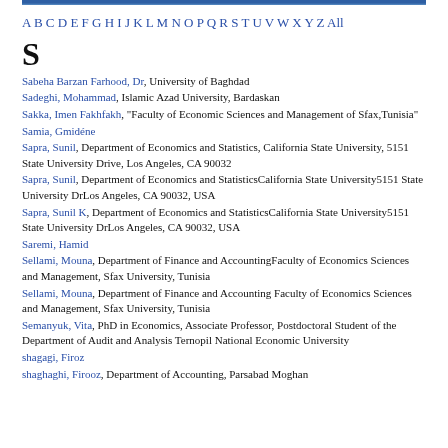A B C D E F G H I J K L M N O P Q R S T U V W X Y Z All
S
Sabeha Barzan Farhood, Dr, University of Baghdad
Sadeghi, Mohammad, Islamic Azad University, Bardaskan
Sakka, Imen Fakhfakh, "Faculty of Economic Sciences and Management of Sfax,Tunisia"
Samia, Gmidéne
Sapra, Sunil, Department of Economics and Statistics, California State University, 5151 State University Drive, Los Angeles, CA 90032
Sapra, Sunil, Department of Economics and StatisticsCalifornia State University5151 State University DrLos Angeles, CA 90032, USA
Sapra, Sunil K, Department of Economics and StatisticsCalifornia State University5151 State University DrLos Angeles, CA 90032, USA
Saremi, Hamid
Sellami, Mouna, Department of Finance and AccountingFaculty of Economics Sciences and Management, Sfax University, Tunisia
Sellami, Mouna, Department of Finance and Accounting Faculty of Economics Sciences and Management, Sfax University, Tunisia
Semanyuk, Vita, PhD in Economics, Associate Professor, Postdoctoral Student of the Department of Audit and Analysis Ternopil National Economic University
shagagi, Firoz
shaghaghi, Firooz, Department of Accounting, Parsabad Moghan